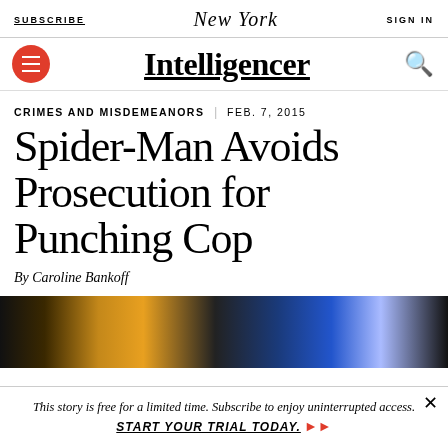SUBSCRIBE | New York | SIGN IN
Intelligencer
CRIMES AND MISDEMEANORS | FEB. 7, 2015
Spider-Man Avoids Prosecution for Punching Cop
By Caroline Bankoff
[Figure (photo): Partial photo of a street scene with colorful lights]
This story is free for a limited time. Subscribe to enjoy uninterrupted access. START YOUR TRIAL TODAY.